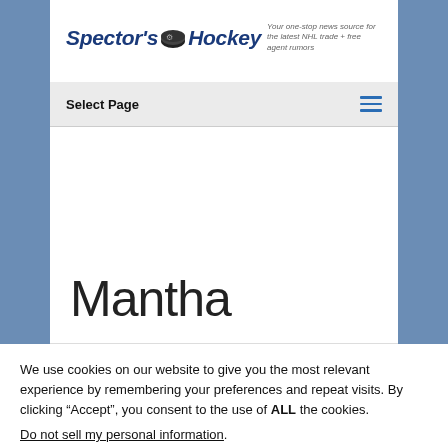[Figure (logo): Spector's Hockey logo with hockey puck graphic and tagline 'Your one-stop news source for the latest NHL trade + free agent rumors']
Select Page
Mantha
We use cookies on our website to give you the most relevant experience by remembering your preferences and repeat visits. By clicking “Accept”, you consent to the use of ALL the cookies.
Do not sell my personal information.
Cookie Settings
Accept